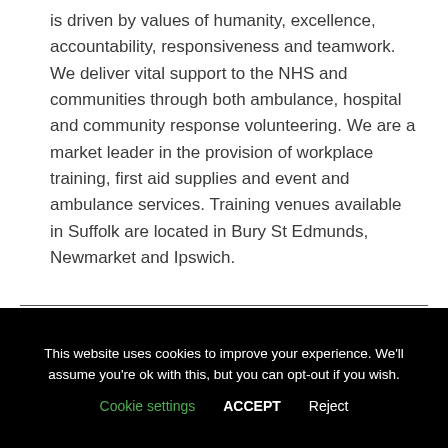is driven by values of humanity, excellence, accountability, responsiveness and teamwork. We deliver vital support to the NHS and communities through both ambulance, hospital and community response volunteering. We are a market leader in the provision of workplace training, first aid supplies and event and ambulance services. Training venues available in Suffolk are located in Bury St Edmunds, Newmarket and Ipswich.
This website uses cookies to improve your experience. We'll assume you're ok with this, but you can opt-out if you wish. Cookie settings ACCEPT Reject